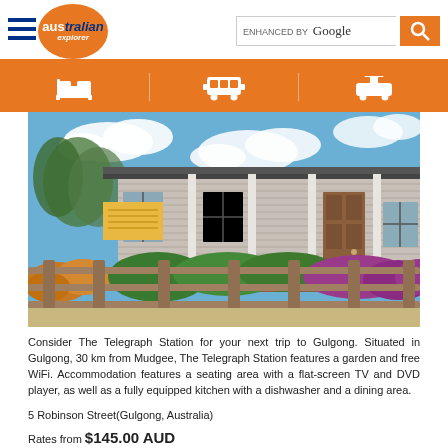[Figure (logo): Australian Explorer website header with hamburger menu, orange circle logo with 'australian explorer' text, and Google enhanced search box with orange search button]
[Figure (other): Orange navigation bar with three white icons: bed/accommodation icon, bus/transport icon, and car/vehicle icon]
[Figure (photo): Photo of The Telegraph Station in Gulgong - a white weatherboard building with covered verandah and white columns, surrounded by colourful flowering garden beds with orange and purple flowers, wooden post-and-rail fence in foreground, blue sky with clouds]
Consider The Telegraph Station for your next trip to Gulgong. Situated in Gulgong, 30 km from Mudgee, The Telegraph Station features a garden and free WiFi. Accommodation features a seating area with a flat-screen TV and DVD player, as well as a fully equipped kitchen with a dishwasher and a dining area.
5 Robinson Street(Gulgong, Australia)
Rates from $145.00 AUD